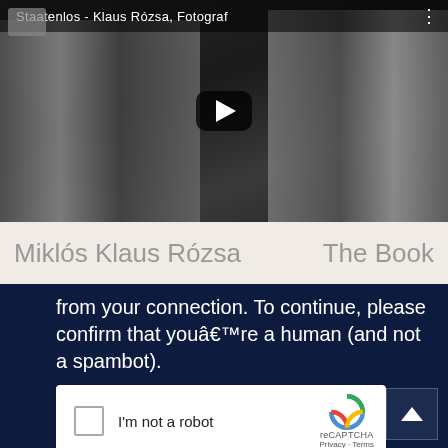[Figure (screenshot): YouTube video thumbnail showing black and white photo of people including a photographer with camera. Title bar reads 'Staatenlos - Klaus Rozsa, Fotograf' with play button overlay.]
Miklós Klaus Rózsa    The Book
from your connection. To continue, please confirm that youâ€™re a human (and not a spambot).
[Figure (screenshot): reCAPTCHA widget with checkbox labeled 'I'm not a robot' and reCAPTCHA logo with Privacy - Terms links.]
[Figure (screenshot): Back to top button (dark blue with upward arrow) in bottom right corner.]